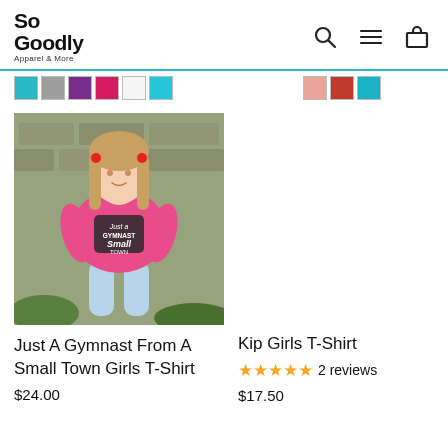So Goodly Apparel & More
[Figure (screenshot): Color swatches strip — teal, gray, purple, pink/red, white, teal on left; peach, red, teal on right]
[Figure (photo): Young girl wearing a pink t-shirt that reads 'Just a Gymnast Small Town', posed outdoors against stone wall]
Just A Gymnast From A Small Town Girls T-Shirt
$24.00
Kip Girls T-Shirt
★★★★★ 2 reviews
$17.50